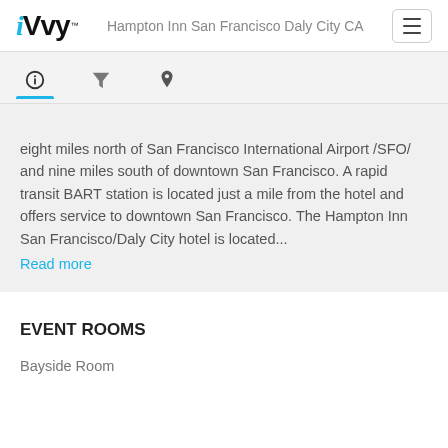iVvy™  Hampton Inn San Francisco Daly City CA
[Figure (screenshot): Navigation tab bar with info (i), filter, and location pin icons; info tab is active with blue underline]
eight miles north of San Francisco International Airport /SFO/ and nine miles south of downtown San Francisco. A rapid transit BART station is located just a mile from the hotel and offers service to downtown San Francisco. The Hampton Inn San Francisco/Daly City hotel is located...
Read more
EVENT ROOMS
Bayside Room